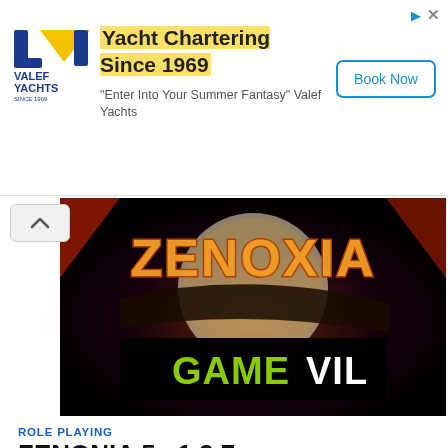[Figure (logo): Valef Yachts logo with blue and yellow sail design and text VALEF YACHTS SINCE 1969]
Yacht Chartering Since 1969
"Enter Into Your Summer Fantasy" Valef Yachts
Book Now
[Figure (screenshot): ZENONIA game splash screen showing the ZENONIA logo in orange/red fiery letters over a dark dramatic background, with GAMEVIL logo in green and white text below]
ROLE PLAYING
ZENONIA 5 v1.2.7
ZENONIA  5 Game is a passionate game which will refresh you and let your idle time enjoy, in other words ...